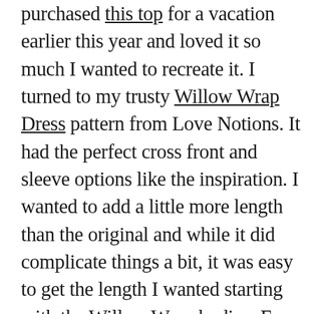purchased this top for a vacation earlier this year and loved it so much I wanted to recreate it. I turned to my trusty Willow Wrap Dress pattern from Love Notions. It had the perfect cross front and sleeve options like the inspiration. I wanted to add a little more length than the original and while it did complicate things a bit, it was easy to get the length I wanted starting with the Willow Wrap bodice. For this top, I used the dark peach triangle stripe. I love that this print coordinates with so many prints too and it looks darling with the multi stripe from my Midline Suit too.